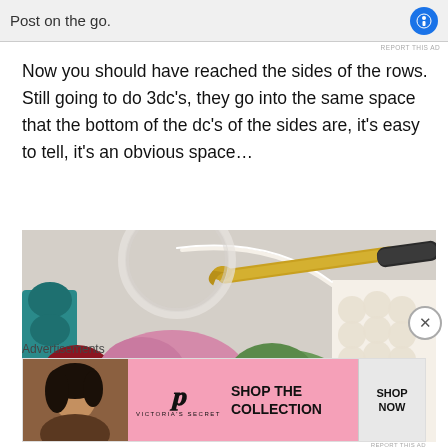[Figure (other): Top advertisement banner with 'Post on the go.' text and a blue circular icon]
Now you should have reached the sides of the rows. Still going to do 3dc's, they go into the same space that the bottom of the dc's of the sides are, it's easy to tell, it's an obvious space...
[Figure (photo): Close-up photograph of colorful crochet work in teal, red, pink, green, and white yarn with a gold and black crochet hook]
Advertisements
[Figure (other): Victoria's Secret advertisement banner with model, VS logo, 'SHOP THE COLLECTION' text, and 'SHOP NOW' button]